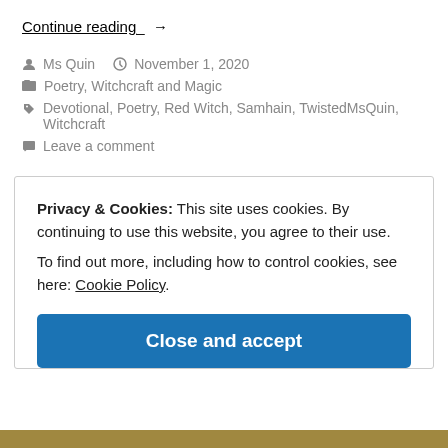Continue reading →
Ms Quin  November 1, 2020
Poetry, Witchcraft and Magic
Devotional, Poetry, Red Witch, Samhain, TwistedMsQuin, Witchcraft
Leave a comment
Privacy & Cookies: This site uses cookies. By continuing to use this website, you agree to their use. To find out more, including how to control cookies, see here: Cookie Policy
Close and accept